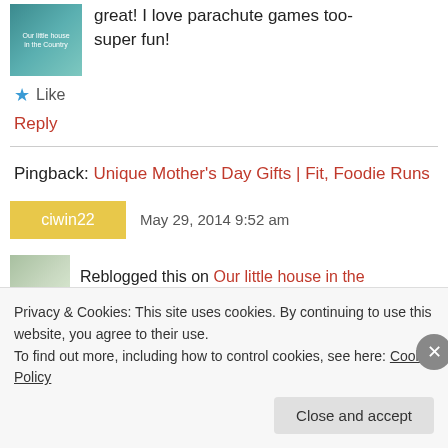great! I love parachute games too- super fun!
★ Like
Reply
Pingback: Unique Mother's Day Gifts | Fit, Foodie Runs
ciwin22   May 29, 2014 9:52 am
Reblogged this on Our little house in the
Privacy & Cookies: This site uses cookies. By continuing to use this website, you agree to their use. To find out more, including how to control cookies, see here: Cookie Policy
Close and accept